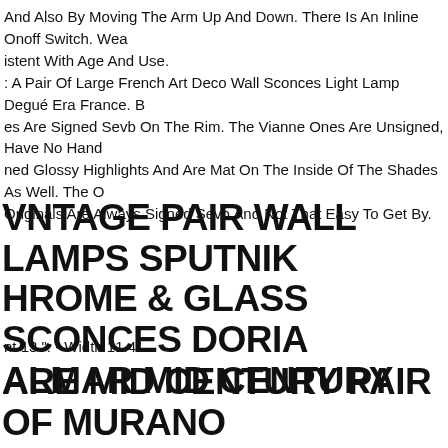And Also By Moving The Arm Up And Down. There Is An Inline Onoff Switch. Wear consistent With Age And Use.
: A Pair Of Large French Art Deco Wall Sconces Light Lamp Degué Era France. B es Are Signed Sevb On The Rim. The Vianne Ones Are Unsigned, Have No Hand ned Glossy Highlights And Are Mat On The Inside Of The Shades As Well. The O Originals Are Always Signed Sevb And Not That Easy To Get By.
VINTAGE PAIR WALL LAMPS SPUTNIK CHROME & GLASS SCONCES DORIA KALMAR MID CENTURY
nt 13 ". - Width 11.4".
RARE MID CENTURY PAIR OF MURANO SCAMICIATO GLASS AND BRASS AMBER WALL SCONCE